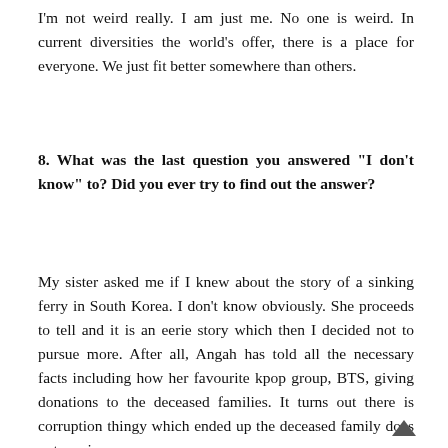I'm not weird really. I am just me. No one is weird. In current diversities the world's offer, there is a place for everyone. We just fit better somewhere than others.
8. What was the last question you answered "I don't know" to? Did you ever try to find out the answer?
My sister asked me if I knew about the story of a sinking ferry in South Korea. I don't know obviously. She proceeds to tell and it is an eerie story which then I decided not to pursue more. After all, Angah has told all the necessary facts including how her favourite kpop group, BTS, giving donations to the deceased families. It turns out there is corruption thingy which ended up the deceased family does not receive any